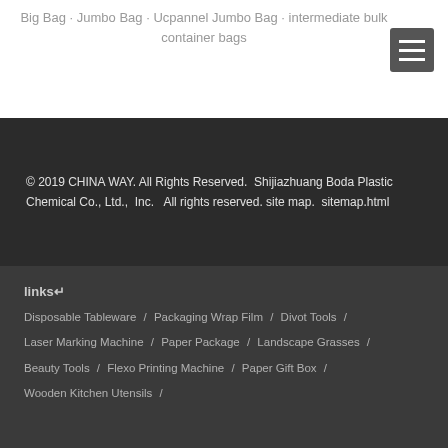Big Bag · Jumbo Bag · Ucpannel Jumbo Bag · intermediate bulk container bags
© 2019 CHINA WAY. All Rights Reserved.  Shijiazhuang Boda Plastic Chemical Co., Ltd.,  Inc.   All rights reserved. site map.  sitemap.html
links↵
Disposable Tableware  /  Packaging Wrap Film  /  Divot Tools  /
Laser Marking Machine  /  Paper Package  /  Landscape Grasses  /
Beauty Tools  /  Flexo Printing Machine  /  Paper Gift Box  /
Wooden Kitchen Utensils  /